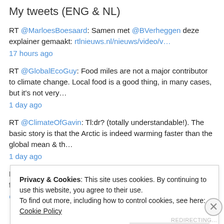My tweets (ENG & NL)
RT @MarloesBoesaard: Samen met @BVerheggen deze explainer gemaakt: rtlnieuws.nl/nieuws/video/v… 17 hours ago
RT @GlobalEcoGuy: Food miles are not a major contributor to climate change. Local food is a good thing, in many cases, but it's not very… 1 day ago
RT @ClimateOfGavin: Tl:dr? (totally understandable!). The basic story is that the Arctic is indeed warming faster than the global mean & th… 1 day ago
RT @CarbonBrief: Factcheck: Is solar power a 'threat' to UK farmland? | @Josh_Gabbatiss @freyagraham @rtmcswee @GAViglione w/
Privacy & Cookies: This site uses cookies. By continuing to use this website, you agree to their use.
To find out more, including how to control cookies, see here: Cookie Policy
Close and accept